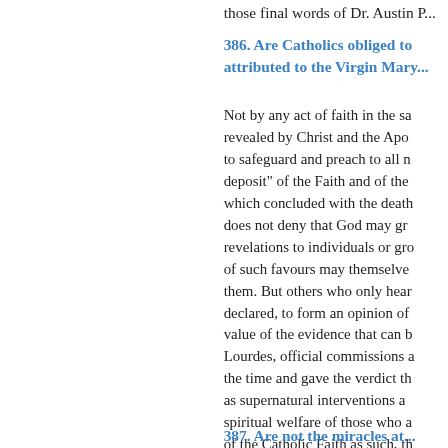those final words of Dr. Austin P...
386. Are Catholics obliged to... attributed to the Virgin Mary...
Not by any act of faith in the sa... revealed by Christ and the Apo... to safeguard and preach to all n... deposit" of the Faith and of the... which concluded with the death... does not deny that God may gr... revelations to individuals or gro... of such favours may themselve... them. But others who only hear... declared, to form an opinion of... value of the evidence that can b... Lourdes, official commissions a... the time and gave the verdict th... as supernatural interventions a... spiritual welfare of those who a... of the Catholic Faith as such, th... cannot be simply dismissed as... feel personally attracted to or i...
387. Are not the miracles at...
Here we must be careful. Scien... is a Medical Bureau, open to al...